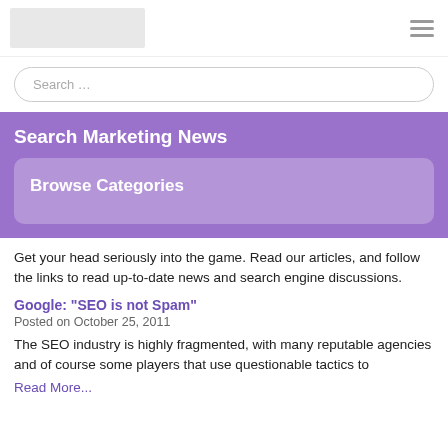[logo] [hamburger menu]
Search ...
Search Marketing News
Browse Categories
Get your head seriously into the game. Read our articles, and follow the links to read up-to-date news and search engine discussions.
Google: “SEO is not Spam”
Posted on October 25, 2011
The SEO industry is highly fragmented, with many reputable agencies and of course some players that use questionable tactics to
Read More...